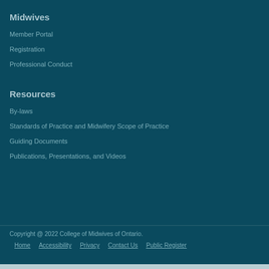Midwives
Member Portal
Registration
Professional Conduct
Resources
By-laws
Standards of Practice and Midwifery Scope of Practice
Guiding Documents
Publications, Presentations, and Videos
Copyright @ 2022 College of Midwives of Ontario.
Home   Accessibility   Privacy   Contact Us   Public Register